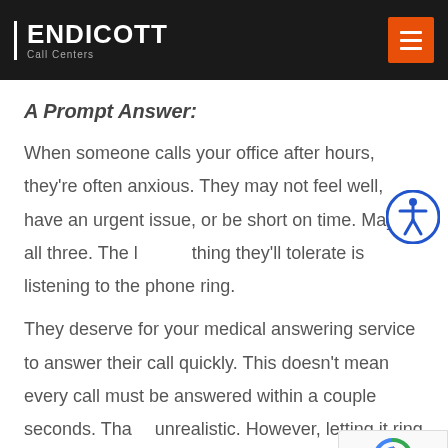ENDICOTT Call Centers
A Prompt Answer:
When someone calls your office after hours, they're often anxious. They may not feel well, have an urgent issue, or be short on time. Maybe all three. The last thing they'll tolerate is listening to the phone ring.
They deserve for your medical answering service to answer their call quickly. This doesn't mean every call must be answered within a couple seconds. That's unrealistic. However, letting it ring endlessly is
[Figure (other): Accessibility icon - blue circle with white person/human figure symbol]
[Figure (other): Google reCAPTCHA badge with logo and Privacy · Terms text]